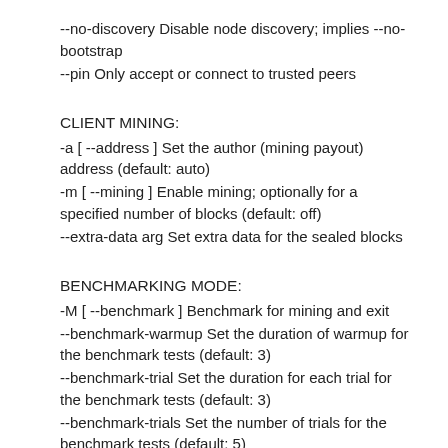--no-discovery Disable node discovery; implies --no-bootstrap
--pin Only accept or connect to trusted peers
CLIENT MINING:
-a [ --address ] Set the author (mining payout) address (default: auto)
-m [ --mining ] Enable mining; optionally for a specified number of blocks (default: off)
--extra-data arg Set extra data for the sealed blocks
BENCHMARKING MODE:
-M [ --benchmark ] Benchmark for mining and exit
--benchmark-warmup Set the duration of warmup for the benchmark tests (default: 3)
--benchmark-trial Set the duration for each trial for the benchmark tests (default: 3)
--benchmark-trials Set the number of trials for the benchmark tests (default: 5)